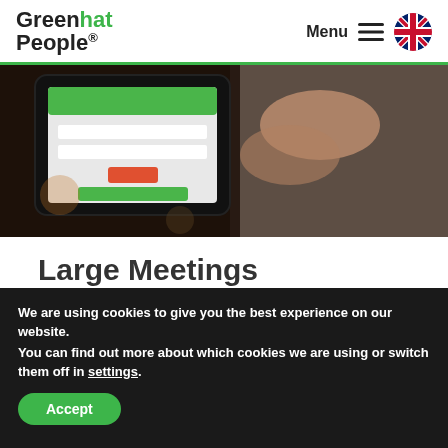Greenhat People® | Menu
[Figure (photo): Person holding a tablet device showing a green-themed app interface, sitting in a dark setting]
Large Meetings
We are using cookies to give you the best experience on our website.
You can find out more about which cookies we are using or switch them off in settings.
Accept